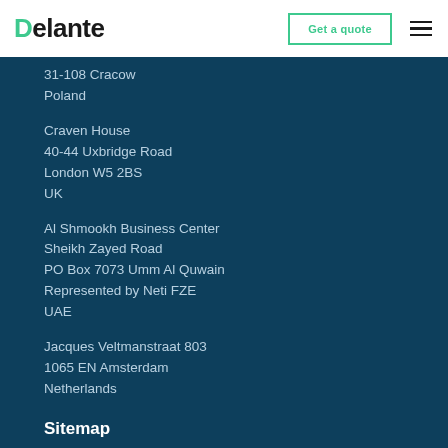Delante | Get a quote
31-108 Cracow
Poland
Craven House
40-44 Uxbridge Road
London W5 2BS
UK
Al Shmookh Business Center
Sheikh Zayed Road
PO Box 7073 Umm Al Quwain
Represented by Neti FZE
UAE
Jacques Veltmanstraat 803
1065 EN Amsterdam
Netherlands
Sitemap
About